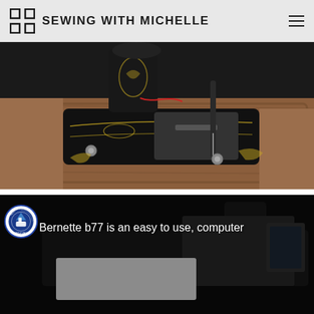SEWING WITH MICHELLE
[Figure (photo): Close-up photograph of a vintage antique black and gold sewing machine mounted on a wooden table, showing decorative gold filigree details on the machine bed and needle area.]
[Figure (screenshot): Video thumbnail showing a sewing machine with a Rocky Mountain Sewing & Vacuum circular logo badge overlaid on the left and white text reading: Bernette b77 is an easy to use, computer...]